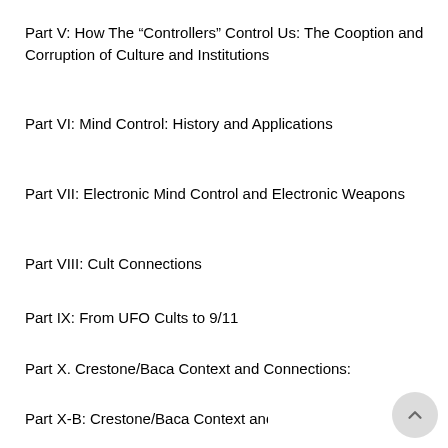Part V: How The “Controllers” Control Us: The Cooption and Corruption of Culture and Institutions
Part VI: Mind Control: History and Applications
Part VII: Electronic Mind Control and Electronic Weapons
Part VIII: Cult Connections
Part IX: From UFO Cults to 9/11
Part X. Crestone/Baca Context and Connections:
Part X-B: Crestone/Baca Context and Connections Continued:
Part XI: Summary, Hypotheses (1 – 141), and Conclusions
Part XII: Summary, Hypotheses (142 – 333), and Conclusions Part B